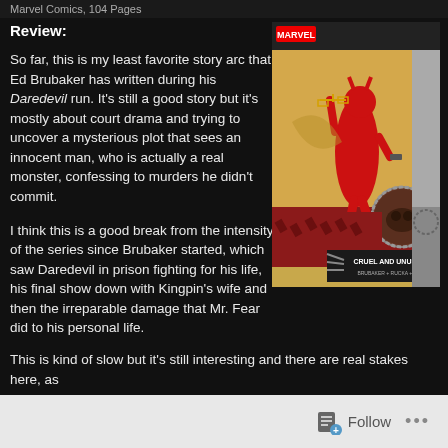Marvel Comics, 104 Pages
Review:
So far, this is my least favorite story arc that Ed Brubaker has written during his Daredevil run. It's still a good story but it's mostly about court drama and trying to uncover a mysterious plot that sees an innocent man, who is actually a real monster, confessing to murders he didn't commit.
[Figure (illustration): Cover of Daredevil: The Man Without Fear - Cruel and Unusual by Brubaker, Rucka, Lark. Shows Daredevil in red suit holding scales of justice, with a dog image in a circular inset. Marvel Comics logo at top.]
I think this is a good break from the intensity of the series since Brubaker started, which saw Daredevil in prison fighting for his life, his final show down with Kingpin's wife and then the irreparable damage that Mr. Fear did to his personal life.
This is kind of slow but it's still interesting and there are real stakes here, as
Follow ...